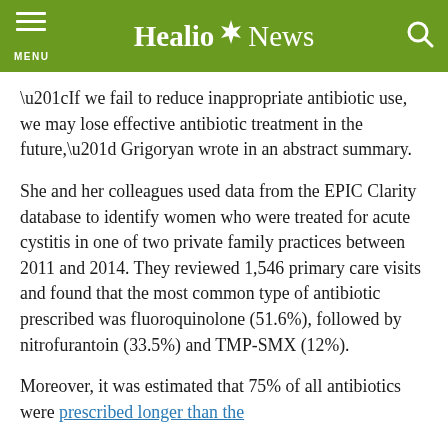Healio News
“If we fail to reduce inappropriate antibiotic use, we may lose effective antibiotic treatment in the future,” Grigoryan wrote in an abstract summary.
She and her colleagues used data from the EPIC Clarity database to identify women who were treated for acute cystitis in one of two private family practices between 2011 and 2014. They reviewed 1,546 primary care visits and found that the most common type of antibiotic prescribed was fluoroquinolone (51.6%), followed by nitrofurantoin (33.5%) and TMP-SMX (12%).
Moreover, it was estimated that 75% of all antibiotics were prescribed longer than the